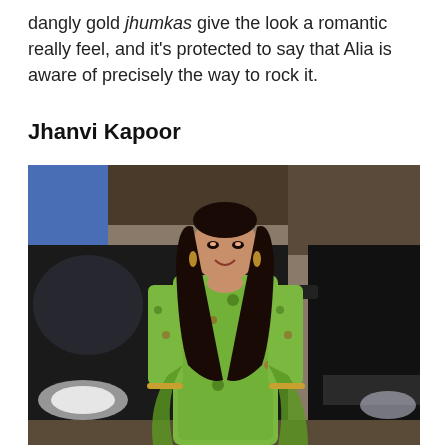dangly gold jhumkas give the look a romantic really feel, and it's protected to say that Alia is aware of precisely the way to rock it.
Jhanvi Kapoor
[Figure (photo): Jhanvi Kapoor standing in front of a black SUV (BMW), wearing a green floral printed salwar suit with long sleeves, dangling earrings, and holding a green dupatta. Her hair is long and dark, and she is smiling.]